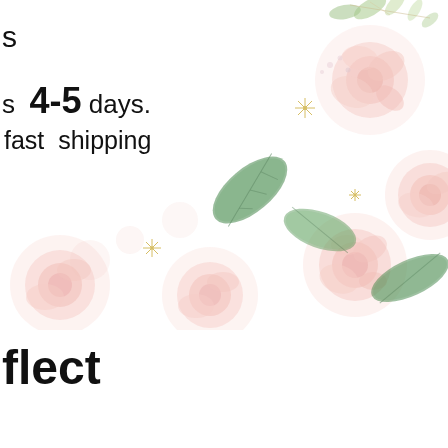s
s  4-5 days.
fast  shipping
[Figure (illustration): Watercolor floral illustration with pink roses, green leaves, and gold sparkle/star accents on a white background. Roses and foliage fill the right side and bottom of the image area.]
flect